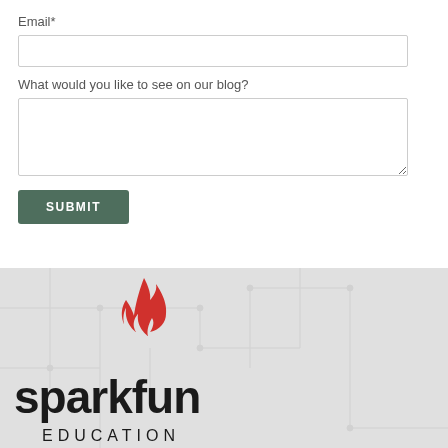Email*
What would you like to see on our blog?
[Figure (logo): SparkFun Education logo with red flame icon above the text 'sparkfun EDUCATION' in black on a light gray textured background]